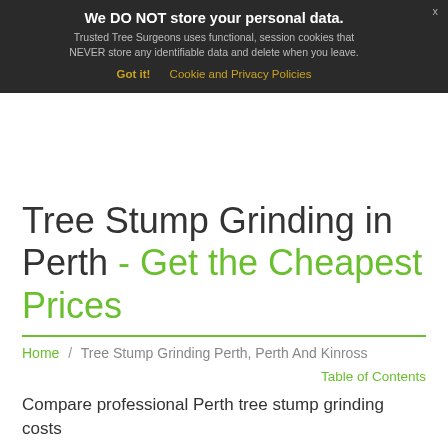We DO NOT store your personal data. Trusted Tree Surgeons uses functional, session cookies that NEVER store any identifiable data and delete when you leave. Got it! Cookie and Privacy Policies
Tree Stump Grinding in Perth - Get the Cheapest Prices
Home / Tree Stump Grinding Perth, Perth And Kinross
Table of Contents
Compare professional Perth tree stump grinding costs
It may be necessary to have a tree stump grinded down once a tree has fallen or been removed. The remaining